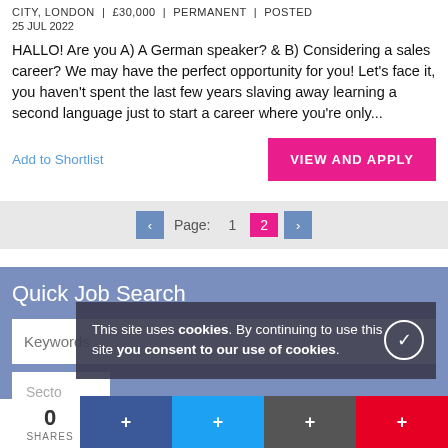CITY, LONDON | £30,000 | PERMANENT | POSTED 25 JUL 2022
HALLO! Are you A) A German speaker? & B) Considering a sales career? We may have the perfect opportunity for you! Let's face it, you haven't spent the last few years slaving away learning a second language just to start a career where you're only...
Add to Shortlist
VIEW AND APPLY
Page: 1 2
Quick Job Search
Keywords
This site uses cookies. By continuing to use this site you consent to our use of cookies.
0 SHARES